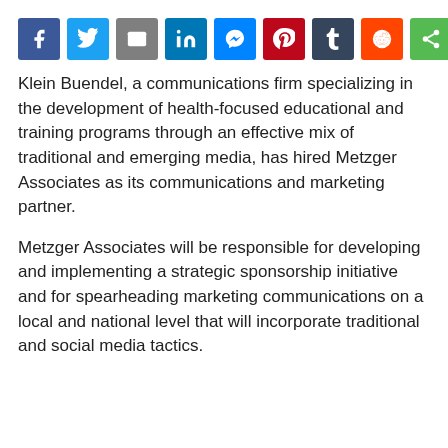[Figure (other): Row of social media share buttons: Facebook, Twitter, Email, LinkedIn, Messenger, Pinterest, Tumblr, Reddit, Share]
Klein Buendel, a communications firm specializing in the development of health-focused educational and training programs through an effective mix of traditional and emerging media, has hired Metzger Associates as its communications and marketing partner.
Metzger Associates will be responsible for developing and implementing a strategic sponsorship initiative and for spearheading marketing communications on a local and national level that will incorporate traditional and social media tactics.